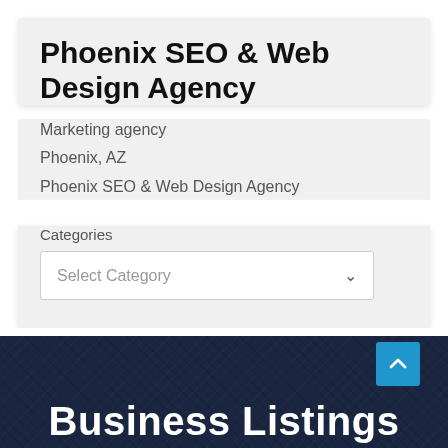Phoenix SEO & Web Design Agency
Marketing agency
Phoenix, AZ
Phoenix SEO & Web Design Agency
Categories
Select Category
Business Listings